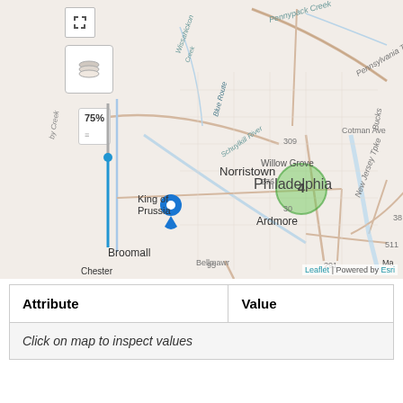[Figure (map): Interactive Leaflet map showing the Philadelphia, PA area with surrounding communities including Norristown, King of Prussia, Willow Grove, Ardmore, Broomall, Camden, Cherry Hill, Pennsauken, Willingboro. A blue location pin marker is placed in the western Philadelphia area, and a green semi-transparent circle marker is visible in the center-Philadelphia area labeled '4'. A vertical opacity slider on the left shows 75%. Map controls include a fullscreen button and layer switcher. Attribution reads 'Leaflet | Powered by Esri'.]
| Attribute | Value |
| --- | --- |
| Click on map to inspect values |  |